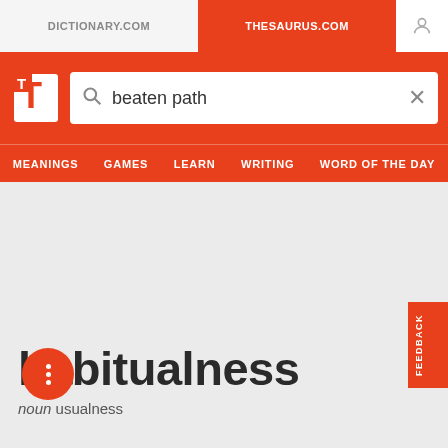DICTIONARY.COM | THESAURUS.COM
[Figure (screenshot): Thesaurus.com website header with logo, search box containing 'beaten path', and navigation bar with MEANINGS, GAMES, LEARN, WRITING, WORD OF THE DAY]
habitualness
noun usualness